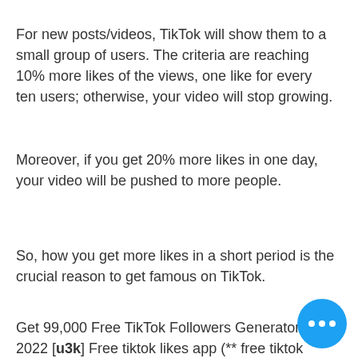For new posts/videos, TikTok will show them to a small group of users. The criteria are reaching 10% more likes of the views, one like for every ten users; otherwise, your video will stop growing.
Moreover, if you get 20% more likes in one day, your video will be pushed to more people.
So, how you get more likes in a short period is the crucial reason to get famous on TikTok.
Get 99,000 Free TikTok Followers Generator In 2022 [u3k] Free tiktok likes app (** free tiktok followers) - Tik Tok Followers Free - Free Tiktok Likes app fast fans followers